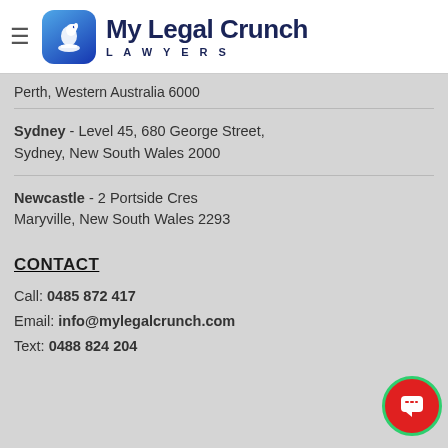[Figure (logo): My Legal Crunch Lawyers logo with chess knight icon on blue gradient background]
Perth, Western Australia 6000
Sydney - Level 45, 680 George Street, Sydney, New South Wales 2000
Newcastle - 2 Portside Cres Maryville, New South Wales 2293
CONTACT
Call: 0485 872 417
Email: info@mylegalcrunch.com
Text: 0488 824 204